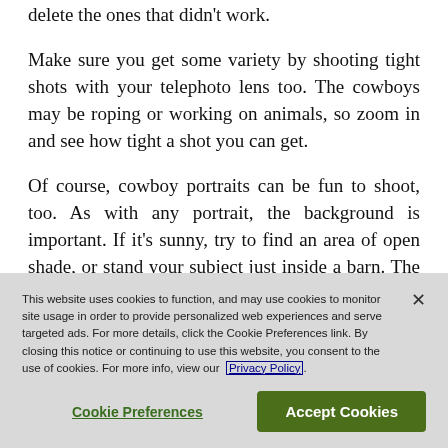delete the ones that didn't work.
Make sure you get some variety by shooting tight shots with your telephoto lens too. The cowboys may be roping or working on animals, so zoom in and see how tight a shot you can get.
Of course, cowboy portraits can be fun to shoot, too. As with any portrait, the background is important. If it's sunny, try to find an area of open shade, or stand your subject just inside a barn. The light coming through an open door will be softer and more pleasing than the bright sun. You will
This website uses cookies to function, and may use cookies to monitor site usage in order to provide personalized web experiences and serve targeted ads. For more details, click the Cookie Preferences link. By closing this notice or continuing to use this website, you consent to the use of cookies. For more info, view our Privacy Policy.
Cookie Preferences
Accept Cookies